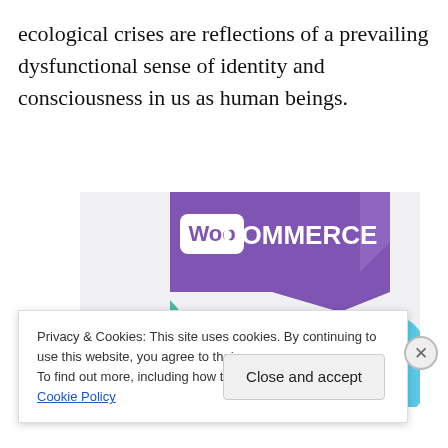ecological crises are reflections of a prevailing dysfunctional sense of identity and consciousness in us as human beings.
[Figure (illustration): WooCommerce advertisement image showing purple header with WooCommerce logo, teal and light blue geometric shapes on a light gray background, with bold text 'How to start selling subscriptions online']
Privacy & Cookies: This site uses cookies. By continuing to use this website, you agree to their use.
To find out more, including how to control cookies, see here: Cookie Policy